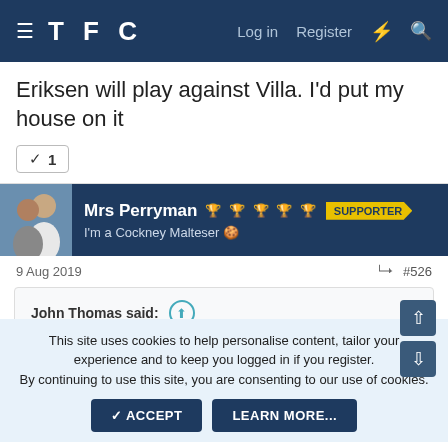TFC  Log in  Register
Eriksen will play against Villa. I'd put my house on it
✓ 1
Mrs Perryman  SUPPORTER  I'm a Cockney Malteser 🍫
9 Aug 2019  #526
John Thomas said: On Loan! So we haven't actually signed this player after all. Never thought I'd see the day we take players on loan from mid table Spanish teams.
This site uses cookies to help personalise content, tailor your experience and to keep you logged in if you register. By continuing to use this site, you are consenting to our use of cookies.
ACCEPT  LEARN MORE...